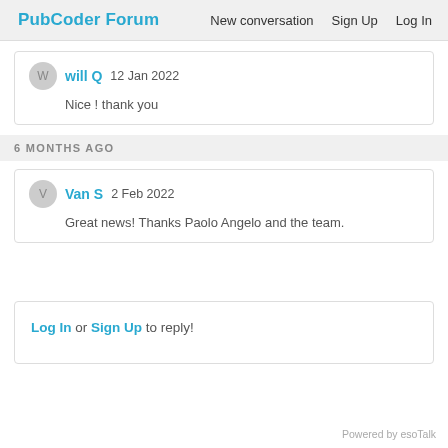PubCoder Forum   New conversation   Sign Up   Log In
will Q   12 Jan 2022
Nice ! thank you
6 MONTHS AGO
Van S   2 Feb 2022
Great news! Thanks Paolo Angelo and the team.
Log In or Sign Up to reply!
Powered by esoTalk